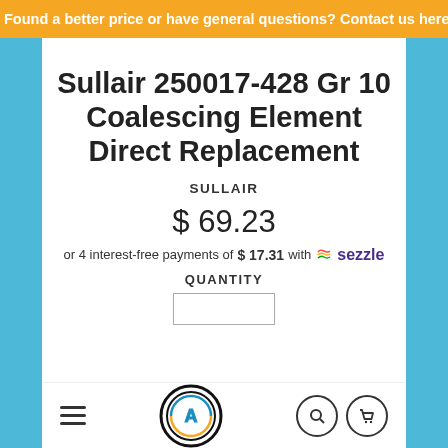Found a better price or have general questions? Contact us here
Sullair 250017-428 Gr 10 Coalescing Element Direct Replacement
SULLAIR
$ 69.23
or 4 interest-free payments of $ 17.31 with sezzle
QUANTITY